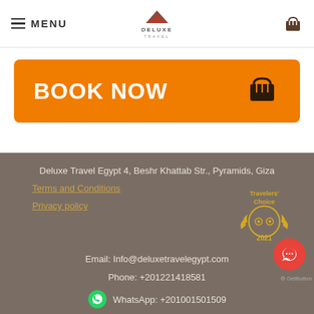MENU | DELUXE TRAVEL
BOOK NOW
Deluxe Travel Egypt 4, Beshr Khattab Str., Pyramids, Giza | Terms and Conditions | Privacy policy | Email: Info@deluxetravelegypt.com | Phone: +201221418581 | WhatsApp: +201001501509